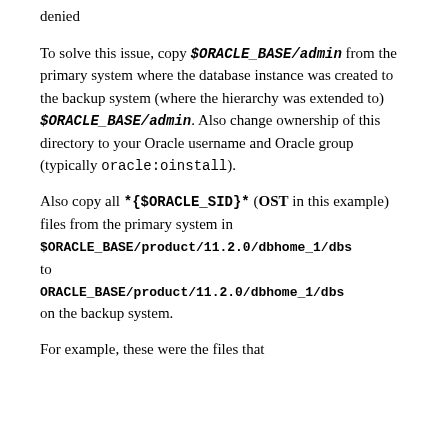denied
To solve this issue, copy $ORACLE_BASE/admin from the primary system where the database instance was created to the backup system (where the hierarchy was extended to) $ORACLE_BASE/admin. Also change ownership of this directory to your Oracle username and Oracle group (typically oracle:oinstall).
Also copy all *{$ORACLE_SID}* (OST in this example) files from the primary system in $ORACLE_BASE/product/11.2.0/dbhome_1/dbs to ORACLE_BASE/product/11.2.0/dbhome_1/dbs on the backup system.
For example, these were the files that